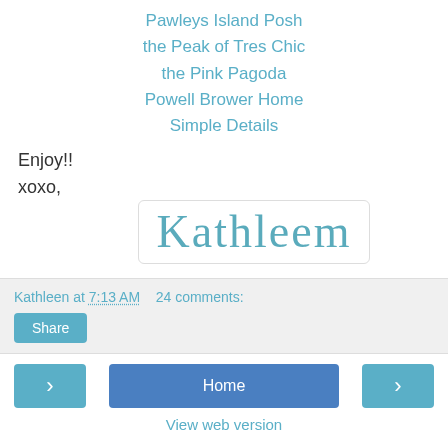Pawleys Island Posh
the Peak of Tres Chic
the Pink Pagoda
Powell Brower Home
Simple Details
Enjoy!!
xoxo,
[Figure (illustration): Handwritten cursive signature reading 'Kathleen' in teal/blue color inside a rounded rectangle box]
Kathleen at 7:13 AM   24 comments:
Share
< Home > View web version